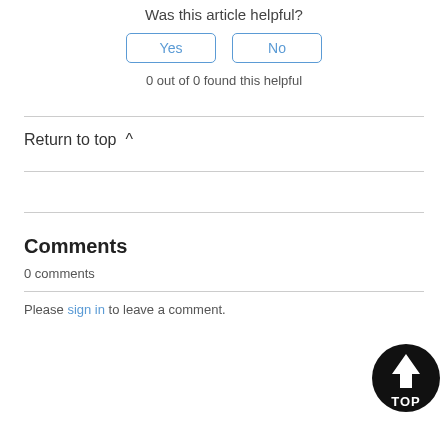Was this article helpful?
[Figure (other): Yes and No buttons for article feedback]
0 out of 0 found this helpful
Return to top ^
Comments
0 comments
Please sign in to leave a comment.
[Figure (logo): Black circular TOP badge with arrow pointing up]